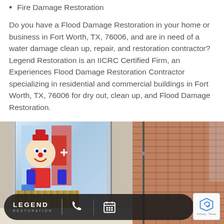Fire Damage Restoration
Do you have a Flood Damage Restoration in your home or business in Fort Worth, TX, 76006, and are in need of a water damage clean up, repair, and restoration contractor? Legend Restoration is an IICRC Certified Firm, an Experiences Flood Damage Restoration Contractor specializing in residential and commercial buildings in Fort Worth, TX, 76006 for dry out, clean up, and Flood Damage Restoration.
[Figure (photo): Interior of a commercial building showing a storefront with a colorful clown/McDonald's-style mural visible through glass doors on the left, and an exposed brick wall on the right. At the bottom is a dark pill-shaped bar showing the Legend Restoration logo, a phone icon, and a calendar icon. A reCAPTCHA badge is visible in the bottom right corner.]